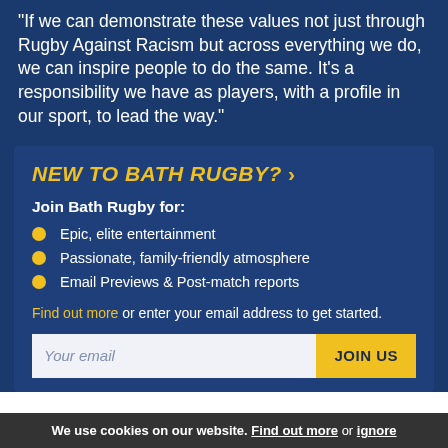"If we can demonstrate these values not just through Rugby Against Racism but across everything we do, we can inspire people to do the same. It's a responsibility we have as players, with a profile in our sport, to lead the way."
NEW TO BATH RUGBY? >
Join Bath Rugby for:
Epic, elite entertainment
Passionate, family-friendly atmosphere
Email Previews & Post-match reports
Find out more or enter your email address to get started.
We use cookies on our website. Find out more or ignore